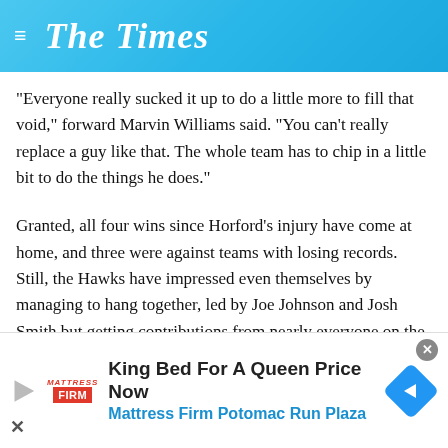The Times
"Everyone really sucked it up to do a little more to fill that void," forward Marvin Williams said. "You can't really replace a guy like that. The whole team has to chip in a little bit to do the things he does."
Granted, all four wins since Horford's injury have come at home, and three were against teams with losing records. Still, the Hawks have impressed even themselves by managing to hang together, led by Joe Johnson and Josh Smith but getting contributions from nearly everyone on the roster.
[Figure (infographic): Advertisement banner for Mattress Firm Potomac Run Plaza: 'King Bed For A Queen Price Now' with Mattress Firm logo, navigation icon, play button, and close controls.]